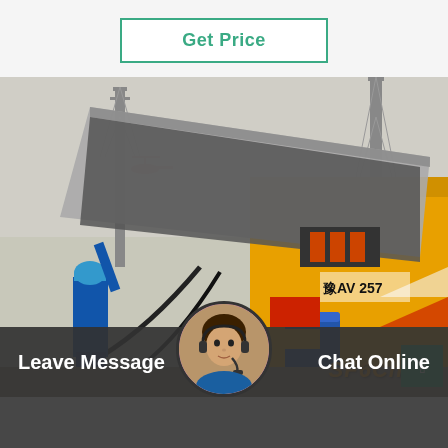Get Price
[Figure (photo): Industrial yellow truck/vehicle with open panel showing electrical equipment, a worker in blue hard hat operating equipment, and a helicopter visible in the background. Orange text 'SF6China' in lower right corner.]
Leave Message
Chat Online
wiki SF6 Alternatives to South Korea